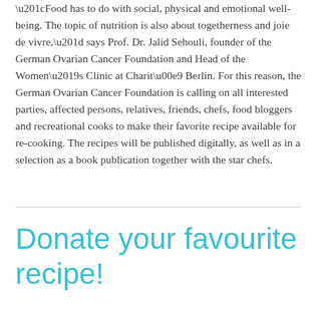“Food has to do with social, physical and emotional well-being. The topic of nutrition is also about togetherness and joie de vivre,” says Prof. Dr. Jalid Sehouli, founder of the German Ovarian Cancer Foundation and Head of the Women’s Clinic at Charité Berlin. For this reason, the German Ovarian Cancer Foundation is calling on all interested parties, affected persons, relatives, friends, chefs, food bloggers and recreational cooks to make their favorite recipe available for re-cooking. The recipes will be published digitally, as well as in a selection as a book publication together with the star chefs.
Donate your favourite recipe!